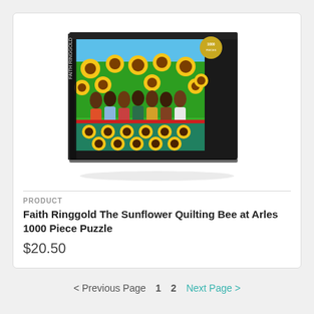[Figure (photo): Product photo of a puzzle box: Faith Ringgold The Sunflower Quilting Bee at Arles 1000 Piece Puzzle box, showing colorful artwork of people standing around a sunflower-patterned quilt, surrounded by sunflowers.]
PRODUCT
Faith Ringgold The Sunflower Quilting Bee at Arles 1000 Piece Puzzle
$20.50
< Previous Page  1  2  Next Page >